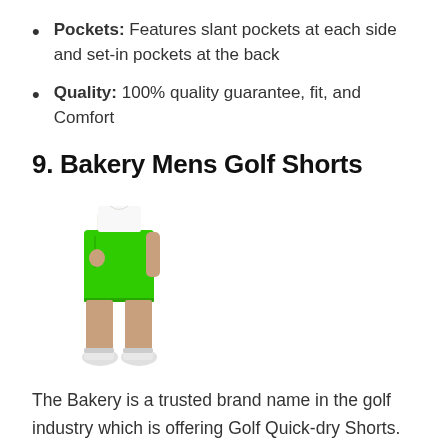Pockets: Features slant pockets at each side and set-in pockets at the back
Quality: 100% quality guarantee, fit, and Comfort
9. Bakery Mens Golf Shorts
[Figure (photo): Photo of a man wearing bright green golf shorts with white shirt and white sneakers]
The Bakery is a trusted brand name in the golf industry which is offering Golf Quick-dry Shorts. This golf short is slim-fit and stylish. If you like to be more relaxed, then this short is the perfect match for you.